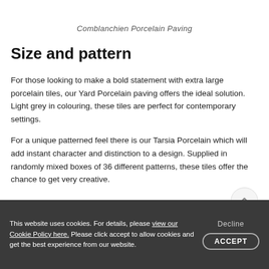Comblanchien Porcelain Paving
Size and pattern
For those looking to make a bold statement with extra large porcelain tiles, our Yard Porcelain paving offers the ideal solution. Light grey in colouring, these tiles are perfect for contemporary settings.
For a unique patterned feel there is our Tarsia Porcelain which will add instant character and distinction to a design. Supplied in randomly mixed boxes of 36 different patterns, these tiles offer the chance to get very creative.
This website uses cookies. For details, please view our Cookie Policy here. Please click accept to allow cookies and get the best experience from our website.